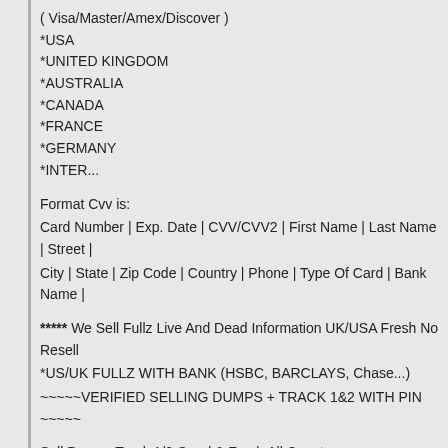( Visa/Master/Amex/Discover )
*USA
*UNITED KINGDOM
*AUSTRALIA
*CANADA
*FRANCE
*GERMANY
*INTER...
Format Cvv is:
Card Number | Exp. Date | CVV/CVV2 | First Name | Last Name | Street |
City | State | Zip Code | Country | Phone | Type Of Card | Bank Name |
***** We Sell Fullz Live And Dead Information UK/USA Fresh No Resell
*US/UK FULLZ WITH BANK (HSBC, BARCLAYS, Chase...)
~~~~~VERIFIED SELLING DUMPS + TRACK 1&2 WITH PIN ~~~~~
Sell Dumps Track 1/2 Good & Fresh All Country
SELLER C CVV US UK CA AU EU RANDOM BIN FRESH. US UK FULLZ LIVE AND DEAD
Selling 100% Fresh Cc Dumps+pin Fullz dob